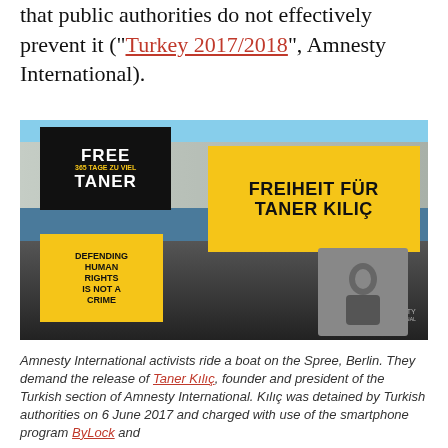that public authorities do not effectively prevent it ("Turkey 2017/2018", Amnesty International).
[Figure (photo): Amnesty International activists on a boat on the Spree river in Berlin, holding signs reading FREE TANER, FREIHEIT FÜR TANER KILIÇ, and DEFENDING HUMAN RIGHTS IS NOT A CRIME. Getty Images / Amnesty International watermark visible.]
Amnesty International activists ride a boat on the Spree, Berlin. They demand the release of Taner Kılıç, founder and president of the Turkish section of Amnesty International. Kılıç was detained by Turkish authorities on 6 June 2017 and charged with use of the smartphone program ByLock and